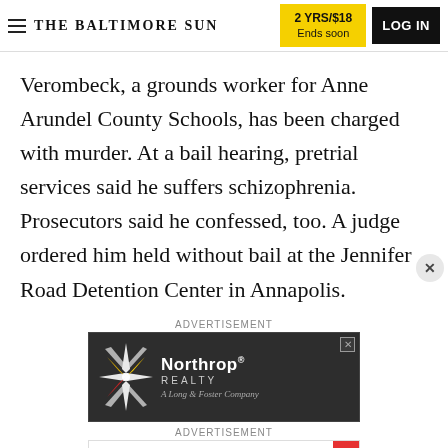THE BALTIMORE SUN | 2 YRS/$18 Ends soon | LOG IN
Verombeck, a grounds worker for Anne Arundel County Schools, has been charged with murder. At a bail hearing, pretrial services said he suffers schizophrenia. Prosecutors said he confessed, too. A judge ordered him held without bail at the Jennifer Road Detention Center in Annapolis.
ADVERTISEMENT
[Figure (other): Northrop Realty advertisement with compass star logo, dark background. Text: Northrop REALTY, A Long & Foster Company]
ADVERTISEMENT
[Figure (other): African Diaspora Maritime advertisement. Text: Join us for an Exciting Press Announcement, African Diaspora Maritime. Blue text with rainbow stripe on right.]